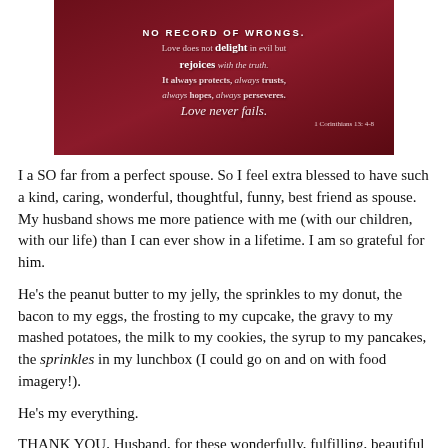[Figure (illustration): Dark red/maroon decorative image with Bible verse text: 'NO RECORD OF WRONGS. Love does not delight in evil but rejoices with the truth. It always protects, always trusts, always hopes, always perseveres. Love never fails. 1 Corinthians 13: 4-8']
I a SO far from a perfect spouse. So I feel extra blessed to have such a kind, caring, wonderful, thoughtful, funny, best friend as spouse. My husband shows me more patience with me (with our children, with our life) than I can ever show in a lifetime. I am so grateful for him.
He's the peanut butter to my jelly, the sprinkles to my donut, the bacon to my eggs, the frosting to my cupcake, the gravy to my mashed potatoes, the milk to my cookies, the syrup to my pancakes, the sprinkles in my lunchbox (I could go on and on with food imagery!).
He's my everything.
THANK YOU, Husband, for these wonderfully, fulfilling, beautiful five years together, as husband and wife. Here's to our lifetime of